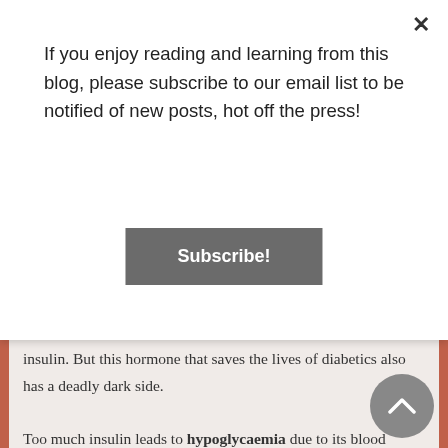If you enjoy reading and learning from this blog, please subscribe to our email list to be notified of new posts, hot off the press!
Subscribe!
insulin. But this hormone that saves the lives of diabetics also has a deadly dark side.
Too much insulin leads to hypoglycaemia due to its blood glucose lowering properties. This is the opposite of what happens in diabetes, but is even more dangerous. Although there are in-built autonomic defence mechanisms to prevent this from happening, a high level of insulin can overcome this to cause blood glucose to plummet.
A hypoglycaemic patient initially suffers cognitive